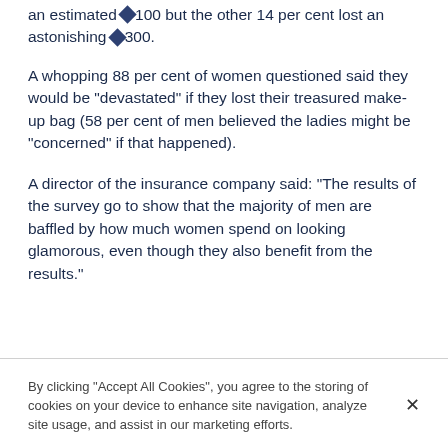an estimated ◆£100 but the other 14 per cent lost an astonishing ◆300.
A whopping 88 per cent of women questioned said they would be "devastated" if they lost their treasured make-up bag (58 per cent of men believed the ladies might be "concerned" if that happened).
A director of the insurance company said: "The results of the survey go to show that the majority of men are baffled by how much women spend on looking glamorous, even though they also benefit from the results."
By clicking "Accept All Cookies", you agree to the storing of cookies on your device to enhance site navigation, analyze site usage, and assist in our marketing efforts.